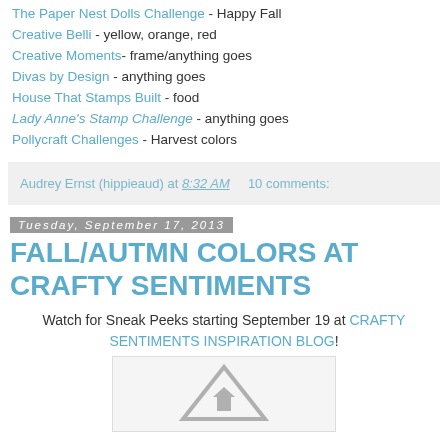The Paper Nest Dolls Challenge - Happy Fall
Creative Belli - yellow, orange, red
Creative Moments- frame/anything goes
Divas by Design - anything goes
House That Stamps Built - food
Lady Anne's Stamp Challenge - anything goes
Pollycraft Challenges - Harvest colors
Audrey Ernst (hippieaud) at 8:32 AM   10 comments:
Tuesday, September 17, 2013
FALL/AUTMN COLORS AT CRAFTY SENTIMENTS
Watch for Sneak Peeks starting September 19 at CRAFTY SENTIMENTS INSPIRATION BLOG!
[Figure (illustration): Placeholder image with a triangle/upload icon in grey]